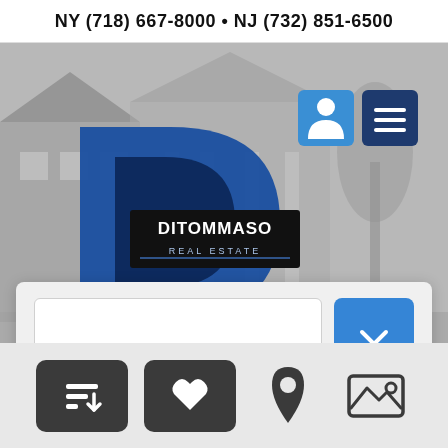NY (718) 667-8000 • NJ (732) 851-6500
[Figure (logo): DiTommaso Real Estate logo — blue letter D shape with DITOMMASO REAL ESTATE text on dark badge]
[Figure (screenshot): Real estate website screenshot showing hero image of house, navigation icons (person and menu), search/refine panel with dropdown and Refine button, bottom toolbar with sort, favorites, map pin, and image icons]